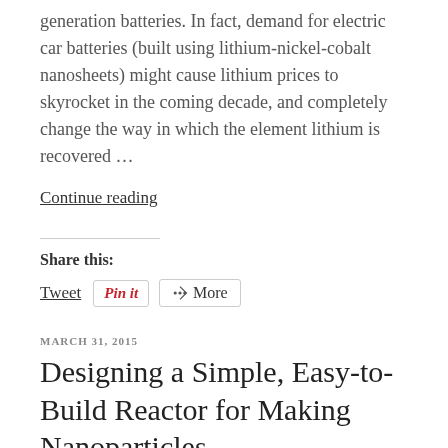generation batteries. In fact, demand for electric car batteries (built using lithium-nickel-cobalt nanosheets) might cause lithium prices to skyrocket in the coming decade, and completely change the way in which the element lithium is recovered …
Continue reading
Share this:
Tweet  Pinit  More
MARCH 31, 2015
Designing a Simple, Easy-to-Build Reactor for Making Nanoparticles
This post is part of our ongoing series of public-friendly summaries describing research articles that have been